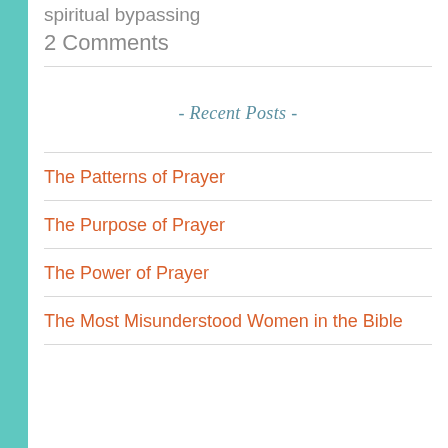spiritual bypassing
2 Comments
- Recent Posts -
The Patterns of Prayer
The Purpose of Prayer
The Power of Prayer
The Most Misunderstood Women in the Bible